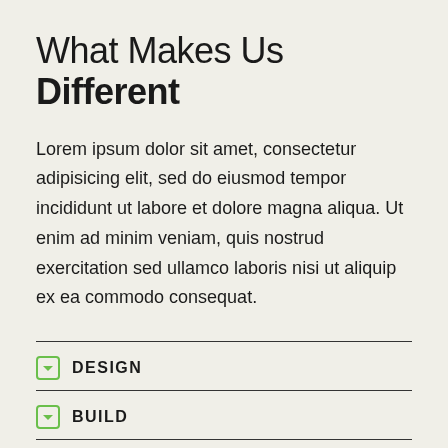What Makes Us Different
Lorem ipsum dolor sit amet, consectetur adipisicing elit, sed do eiusmod tempor incididunt ut labore et dolore magna aliqua. Ut enim ad minim veniam, quis nostrud exercitation sed ullamco laboris nisi ut aliquip ex ea commodo consequat.
DESIGN
BUILD
LAUNCH